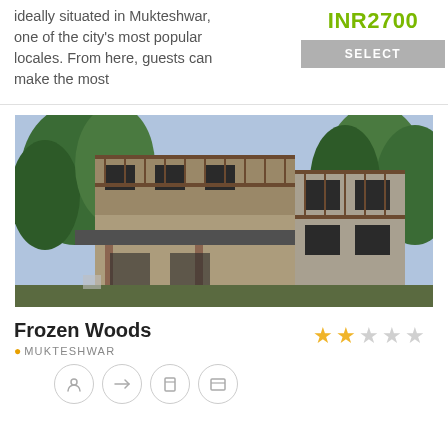ideally situated in Mukteshwar, one of the city's most popular locales. From here, guests can make the most
INR2700
SELECT
[Figure (photo): Two-storey stone and wood building (Frozen Woods hotel) surrounded by trees, with balcony railings and a corrugated metal awning at ground level.]
Frozen Woods
MUKTESHWAR
[Figure (infographic): 2 out of 5 stars rating shown as filled and empty star icons]